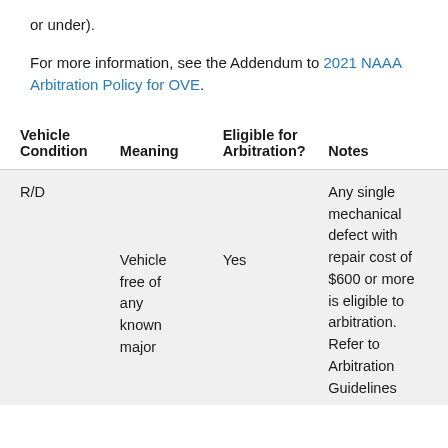or under).
For more information, see the Addendum to 2021 NAAA Arbitration Policy for OVE.
| Vehicle Condition | Meaning | Eligible for Arbitration? | Notes |
| --- | --- | --- | --- |
| R/D | Vehicle free of any known major | Yes | Any single mechanical defect with repair cost of $600 or more is eligible to arbitration. Refer to Arbitration Guidelines |